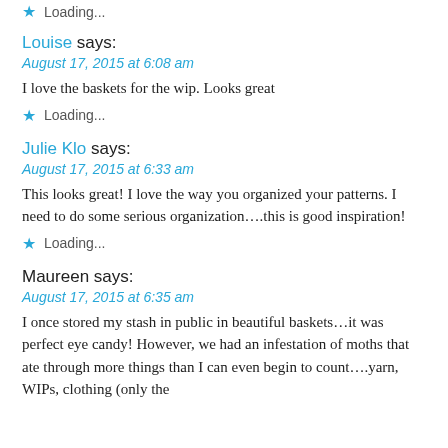Loading...
Louise says:
August 17, 2015 at 6:08 am
I love the baskets for the wip. Looks great
Loading...
Julie Klo says:
August 17, 2015 at 6:33 am
This looks great! I love the way you organized your patterns. I need to do some serious organization….this is good inspiration!
Loading...
Maureen says:
August 17, 2015 at 6:35 am
I once stored my stash in public in beautiful baskets…it was perfect eye candy! However, we had an infestation of moths that ate through more things than I can even begin to count….yarn, WIPs, clothing (only the